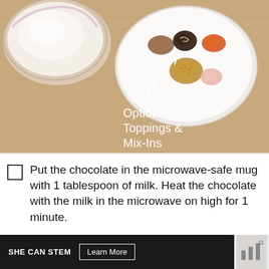[Figure (photo): Overhead view of a wooden table with a glass bowl of milk on the left and a white plate on the right holding various spices and toppings (cinnamon, turmeric, chocolate, flaxseeds, pink salt, etc.). A white curved arrow and white text label read 'Optional Toppings & Mix-Ins'.]
Put the chocolate in the microwave-safe mug with 1 tablespoon of milk. Heat the chocolate with the milk in the microwave on high for 1 minute.
[Figure (other): Dark advertisement banner reading 'SHE CAN STEM' with a 'Learn More' button and a small logo on the right.]